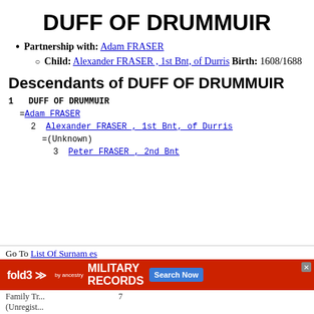DUFF OF DRUMMUIR
Partnership with: Adam FRASER
Child: Alexander FRASER , 1st Bnt, of Durris Birth: 1608/1688
Descendants of DUFF OF DRUMMUIR
1  DUFF OF DRUMMUIR
  =Adam FRASER
    2  Alexander FRASER , 1st Bnt, of Durris
      =(Unknown)
        3  Peter FRASER , 2nd Bnt
Go To List Of Surnames
Family Tr... (Unregist...
[Figure (other): fold3 ancestry Military Records advertisement banner]